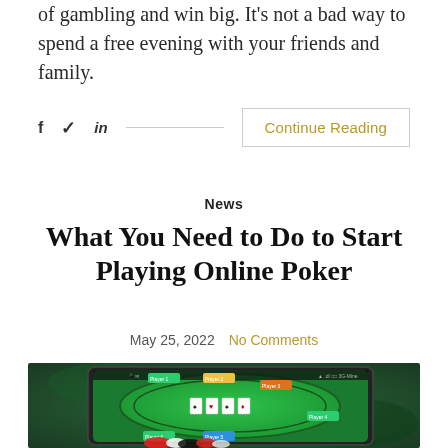of gambling and win big. It's not a bad way to spend a free evening with your friends and family.
f  🐦  in  ─────────────────────────  Continue Reading
News
What You Need to Do to Start Playing Online Poker
May 25, 2022   No Comments
[Figure (photo): Screenshot of an online poker app displayed on a tablet, showing a green poker table with player avatars labeled Player 1-6 and playing cards in the center, with poker chips in the foreground.]